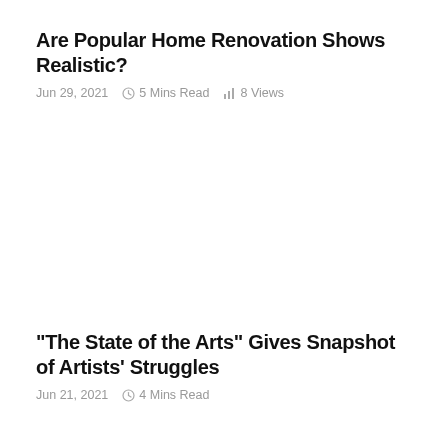Are Popular Home Renovation Shows Realistic?
Jun 29, 2021   5 Mins Read   8 Views
“The State of the Arts” Gives Snapshot of Artists’ Struggles
Jun 21, 2021   4 Mins Read